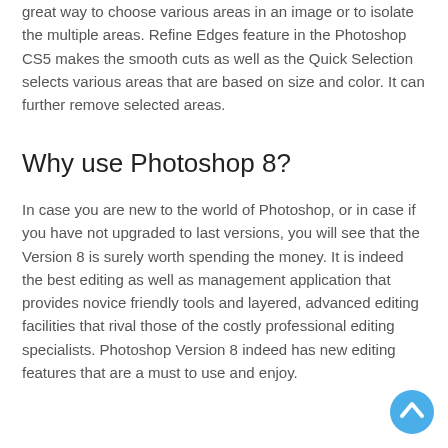great way to choose various areas in an image or to isolate the multiple areas. Refine Edges feature in the Photoshop CS5 makes the smooth cuts as well as the Quick Selection selects various areas that are based on size and color. It can further remove selected areas.
Why use Photoshop 8?
In case you are new to the world of Photoshop, or in case if you have not upgraded to last versions, you will see that the Version 8 is surely worth spending the money. It is indeed the best editing as well as management application that provides novice friendly tools and layered, advanced editing facilities that rival those of the costly professional editing specialists. Photoshop Version 8 indeed has new editing features that are a must to use and enjoy.
[Figure (other): Back to top circular button icon]